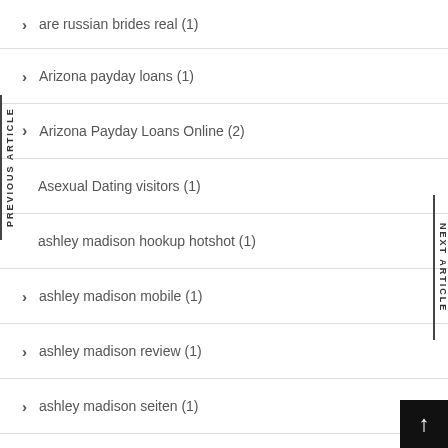are russian brides real (1)
Arizona payday loans (1)
Arizona Payday Loans Online (2)
Asexual Dating visitors (1)
ashley madison hookup hotshot (1)
ashley madison mobile (1)
ashley madison review (1)
ashley madison seiten (1)